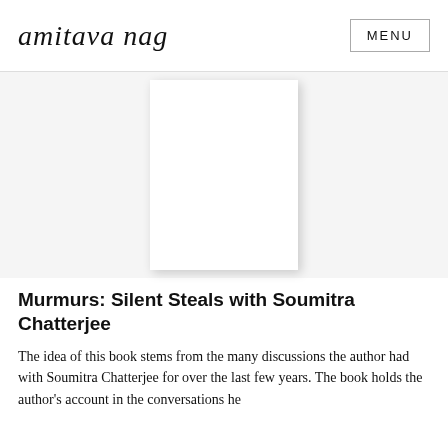amitava nag | MENU
[Figure (illustration): Book cover image for 'Murmurs: Silent Steals with Soumitra Chatterjee' — white/blank cover shown with drop shadow]
Murmurs: Silent Steals with Soumitra Chatterjee
The idea of this book stems from the many discussions the author had with Soumitra Chatterjee for over the last few years. The book holds the author's account in the conversations he...